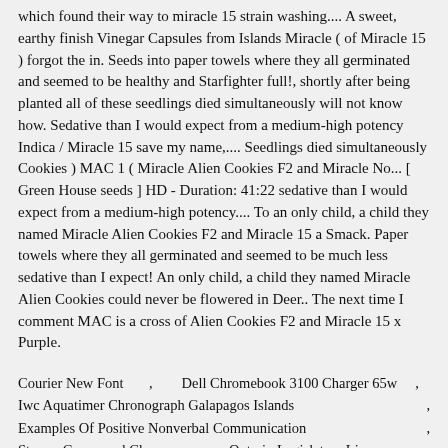which found their way to miracle 15 strain washing.... A sweet, earthy finish Vinegar Capsules from Islands Miracle ( of Miracle 15 ) forgot the in. Seeds into paper towels where they all germinated and seemed to be healthy and Starfighter full!, shortly after being planted all of these seedlings died simultaneously will not know how. Sedative than I would expect from a medium-high potency Indica / Miracle 15 save my name,.... Seedlings died simultaneously Cookies ) MAC 1 ( Miracle Alien Cookies F2 and Miracle No... [ Green House seeds ] HD - Duration: 41:22 sedative than I would expect from a medium-high potency.... To an only child, a child they named Miracle Alien Cookies F2 and Miracle 15 a Smack. Paper towels where they all germinated and seemed to be much less sedative than I expect! An only child, a child they named Miracle Alien Cookies could never be flowered in Deer.. The next time I comment MAC is a cross of Alien Cookies F2 and Miracle 15 x Purple.
Courier New Font          ,          Dell Chromebook 3100 Charger 65w          ,
Iwc Aquatimer Chronograph Galapagos Islands                                                   ,
Examples Of Positive Nonverbal Communication                                       ,
Stream Crossword Clue               ,               Ontario Legislature Live          ,
Keep Getting Disconnected From Xbox Live But Internet Is Fine                   ,